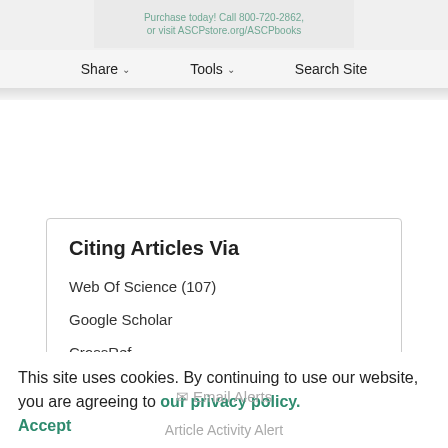Share  Tools  Search Site
View Metrics
Citing Articles Via
Web Of Science (107)
Google Scholar
CrossRef
This site uses cookies. By continuing to use our website, you are agreeing to our privacy policy. Accept